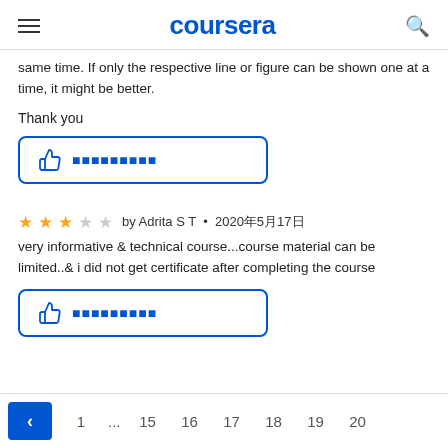coursera
same time. If only the respective line or figure can be shown one at a time, it might be better.
Thank you
[Figure (other): Thumbs up helpful button with blue border and thumbs up icon followed by placeholder squares]
★★★☆☆ by Adrita S T • 2020年5月17日
very informative & technical course...course material can be limited..& i did not get certificate after completing the course
[Figure (other): Thumbs up helpful button with blue border and thumbs up icon followed by placeholder squares]
< 1 ... 15 16 17 18 19 20